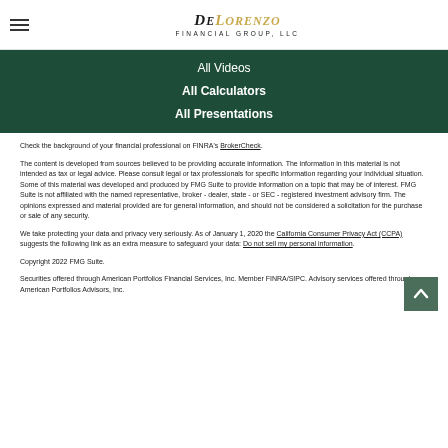DeLorenzo Financial Group, LLC
All Videos
All Calculators
All Presentations
Check the background of your financial professional on FINRA's BrokerCheck.
The content is developed from sources believed to be providing accurate information. The information in this material is not intended as tax or legal advice. Please consult legal or tax professionals for specific information regarding your individual situation. Some of this material was developed and produced by FMG Suite to provide information on a topic that may be of interest. FMG Suite is not affiliated with the named representative, broker - dealer, state - or SEC - registered investment advisory firm. The opinions expressed and material provided are for general information, and should not be considered a solicitation for the purchase or sale of any security.
We take protecting your data and privacy very seriously. As of January 1, 2020 the California Consumer Privacy Act (CCPA) suggests the following link as an extra measure to safeguard your data: Do not sell my personal information.
Copyright 2022 FMG Suite.
Securities offered through American Portfolios Financial Services, Inc. Member FINRA/SIPC. Advisory services offered through American Portfolios Advisors, Inc.